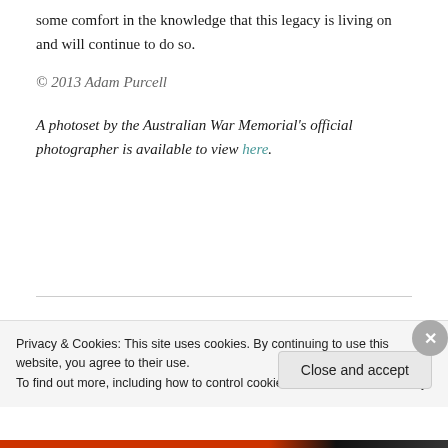some comfort in the knowledge that this legacy is living on and will continue to do so.
© 2013 Adam Purcell
A photoset by the Australian War Memorial's official photographer is available to view here.
Privacy & Cookies: This site uses cookies. By continuing to use this website, you agree to their use.
To find out more, including how to control cookies, see here: Cookie Policy
Close and accept